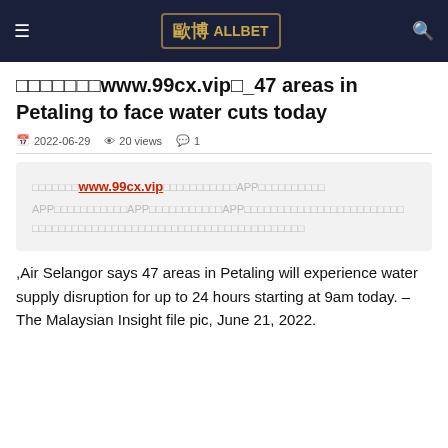ALLBET
□□□□□□□www.99cx.vip□_47 areas in Petaling to face water cuts today
2022-06-29   20 views   1
[Figure (other): Advertisement block with Chinese characters and link to www.99cx.vip]
,Air Selangor says 47 areas in Petaling will experience water supply disruption for up to 24 hours starting at 9am today. – The Malaysian Insight file pic, June 21, 2022.